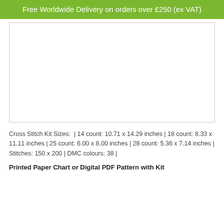Free Worldwide Delivery on orders over £250 (ex VAT)
[Figure (photo): White blank image area representing a product photo placeholder with a light gray border]
Cross Stitch Kit Sizes:  | 14 count: 10.71 x 14.29 inches | 18 count: 8.33 x 11.11 inches | 25 count: 6.00 x 8.00 inches | 28 count: 5.36 x 7.14 inches | Stitches: 150 x 200 | DMC colours: 38 |
Printed Paper Chart or Digital PDF Pattern with Kit